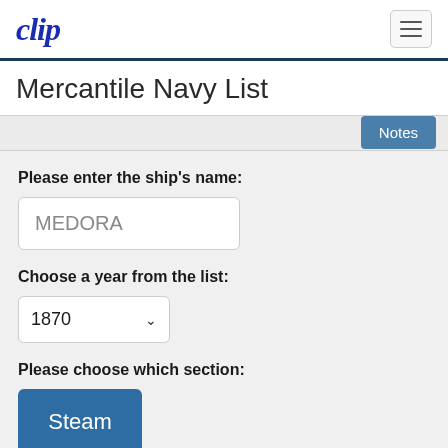clip
Mercantile Navy List
Notes
Please enter the ship's name:
MEDORA
Choose a year from the list:
1870
Please choose which section:
Steam
Motor